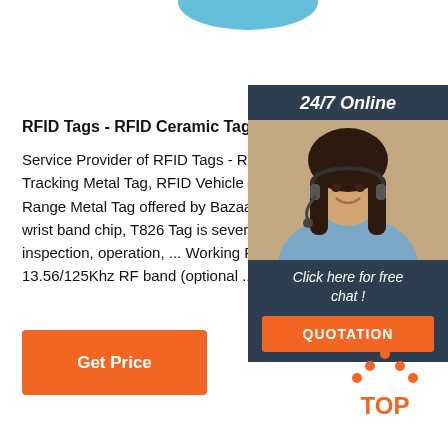[Figure (illustration): Partial blue decorative shape at top center of page]
RFID Tags - RFID Ceramic Tag Service Provider Fro
Service Provider of RFID Tags - RFID Ceramic Tag, Tracking Metal Tag, RFID Vehicle Plate Metal Tag a Range Metal Tag offered by Bazaar Queen, Noida, N wrist band chip, T826 Tag is severed for. treatment, inspection, operation, ... Working Frequency 860MH 13.56/125Khz RF band (optional ...
[Figure (illustration): Orange Get Price button]
[Figure (illustration): 24/7 Online chat widget with woman wearing headset, Click here for free chat text, and QUOTATION orange button]
[Figure (illustration): Orange TOP button icon with upward pointing arrow dots at bottom right]